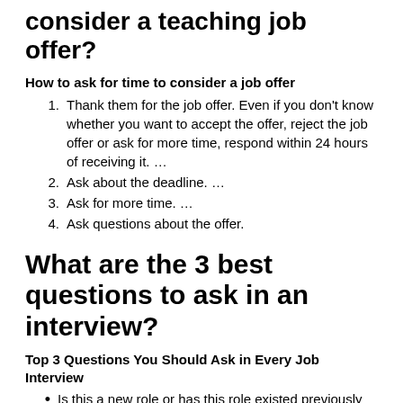consider a teaching job offer?
How to ask for time to consider a job offer
Thank them for the job offer. Even if you don't know whether you want to accept the offer, reject the job offer or ask for more time, respond within 24 hours of receiving it. …
Ask about the deadline. …
Ask for more time. …
Ask questions about the offer.
What are the 3 best questions to ask in an interview?
Top 3 Questions You Should Ask in Every Job Interview
Is this a new role or has this role existed previously with your company? …
Why are the...